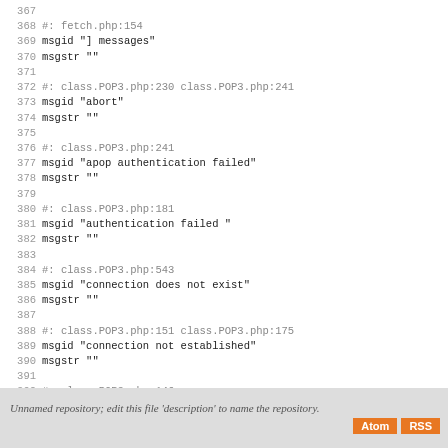367
368 #: fetch.php:154
369 msgid "] messages"
370 msgstr ""
371
372 #: class.POP3.php:230 class.POP3.php:241
373 msgid "abort"
374 msgstr ""
375
376 #: class.POP3.php:241
377 msgid "apop authentication failed"
378 msgstr ""
379
380 #: class.POP3.php:181
381 msgid "authentication failed "
382 msgstr ""
383
384 #: class.POP3.php:543
385 msgid "connection does not exist"
386 msgstr ""
387
388 #: class.POP3.php:151 class.POP3.php:175
389 msgid "connection not established"
390 msgstr ""
391
392 #: class.POP3.php:146
393 msgid "no login ID submitted"
394 msgstr ""
Unnamed repository; edit this file 'description' to name the repository.